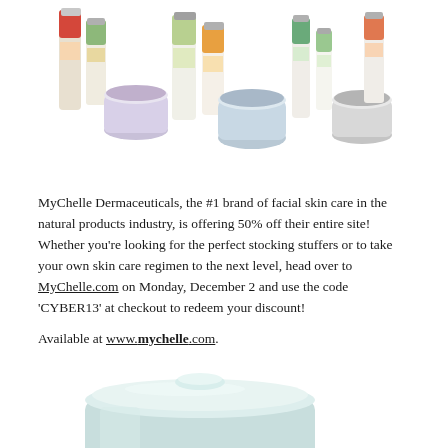[Figure (photo): A lineup of MyChelle Dermaceuticals skincare products including tubes, bottles, and jars with colorful labels against a white background]
MyChelle Dermaceuticals, the #1 brand of facial skin care in the natural products industry, is offering 50% off their entire site! Whether you're looking for the perfect stocking stuffers or to take your own skin care regimen to the next level, head over to MyChelle.com on Monday, December 2 and use the code 'CYBER13' at checkout to redeem your discount!
Available at www.mychelle.com.
[Figure (photo): A light blue/mint colored round skincare jar with a silver lid, partially cropped at the bottom of the page]